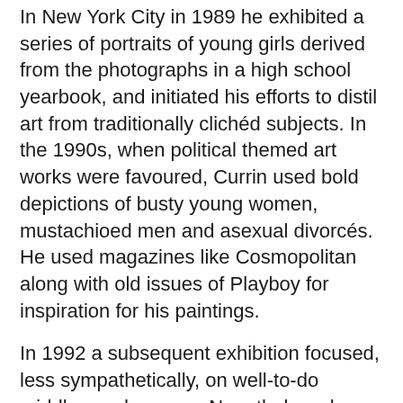In New York City in 1989 he exhibited a series of portraits of young girls derived from the photographs in a high school yearbook, and initiated his efforts to distil art from traditionally clichéd subjects. In the 1990s, when political themed art works were favoured, Currin used bold depictions of busty young women, mustachioed men and asexual divorcés. He used magazines like Cosmopolitan along with old issues of Playboy for inspiration for his paintings.
In 1992 a subsequent exhibition focused, less sympathetically, on well-to-do middle-aged women. Nonetheless, by the late 1990s Currin's ability to paint subjects of kitsch with technical facility met with critical and financial success, and by 2003 his paintings were selling "for prices in the high six figures". More recently, he has undertaken a series of figure paintings dealing with unabashedly pornographic themes.